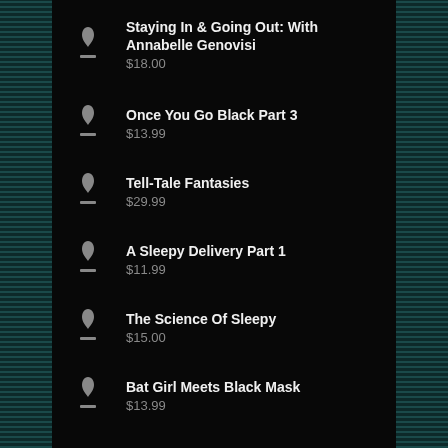Staying In & Going Out: With Annabelle Genovisi
$18.00
Once You Go Black Part 3
$13.99
Tell-Tale Fantasies
$29.99
A Sleepy Delivery Part 1
$11.99
The Science Of Sleepy
$15.00
Bat Girl Meets Black Mask
$13.99